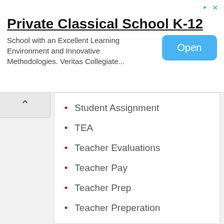[Figure (screenshot): Advertisement banner for Private Classical School K-12 with Open button]
Student Assignment
TEA
Teacher Evaluations
Teacher Pay
Teacher Prep
Teacher Preperation
Teacher Tenure
Teacher Voice
Tennessee General Assembly
Testing